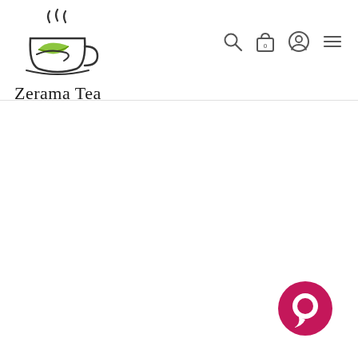[Figure (logo): Zerama Tea logo with a tea cup illustration and steam, text reads 'Zerama Tea']
[Figure (illustration): Navigation bar icons: search magnifier, shopping bag with '0', user profile circle, and hamburger menu]
[Figure (illustration): Pink/crimson chat bubble button in bottom right corner]